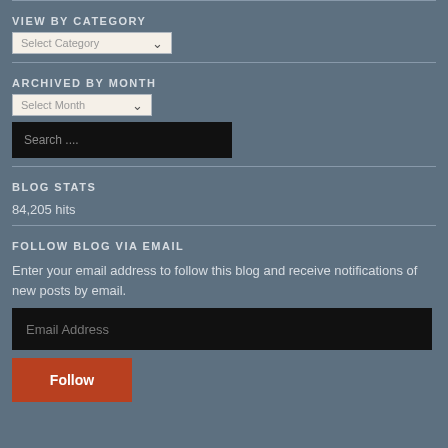VIEW BY CATEGORY
Select Category
ARCHIVED BY MONTH
Select Month
Search ....
BLOG STATS
84,205 hits
FOLLOW BLOG VIA EMAIL
Enter your email address to follow this blog and receive notifications of new posts by email.
Email Address
Follow